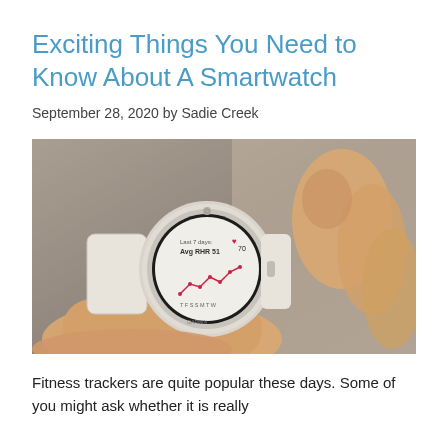Exciting Things You Need to Know About A Smartwatch
September 28, 2020 by Sadie Creek
[Figure (photo): Close-up photo of a person wearing a white Garmin smartwatch on their wrist, with fingers touching the watch face, which displays a fitness tracker screen with graph lines and calendar data.]
Fitness trackers are quite popular these days. Some of you might ask whether it is really